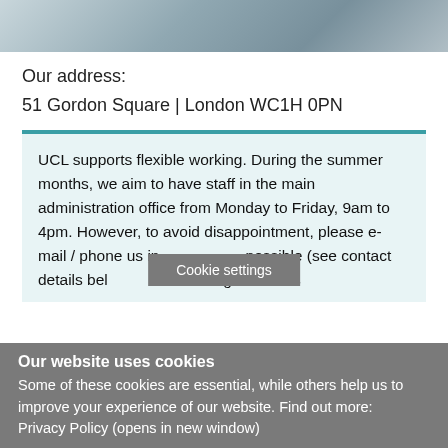[Figure (photo): Partial view of a smartphone and laptop on a desk, visible at the top of the page]
Our address:
51 Gordon Square | London WC1H 0PN
UCL supports flexible working. During the summer months, we aim to have staff in the main administration office from Monday to Friday, 9am to 4pm. However, to avoid disappointment, please e-mail / phone us in advance if possible (see contact details below) before planning to visit us
Cookie settings
Our website uses cookies
Some of these cookies are essential, while others help us to improve your experience of our website. Find out more: Privacy Policy (opens in new window)